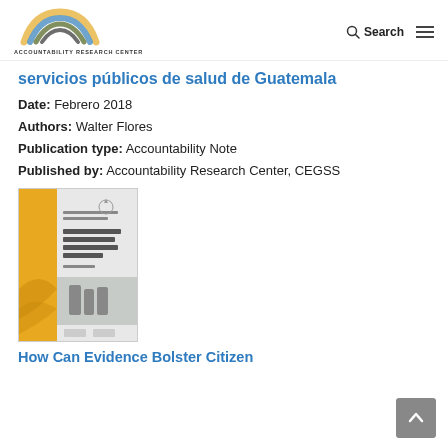Accountability Research Center — Search
servicios públicos de salud de Guatemala
Date: Febrero 2018
Authors: Walter Flores
Publication type: Accountability Note
Published by: Accountability Research Center, CEGSS
[Figure (illustration): Book cover thumbnail for a publication. Yellow and grey cover with small text and CEGSS/Accountability Research Center logos at bottom.]
How Can Evidence Bolster Citizen